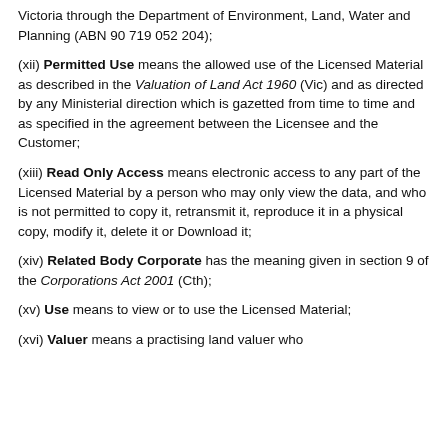(xi) Licensor means the Crown in right of the State of Victoria through the Department of Environment, Land, Water and Planning (ABN 90 719 052 204);
(xii) Permitted Use means the allowed use of the Licensed Material as described in the Valuation of Land Act 1960 (Vic) and as directed by any Ministerial direction which is gazetted from time to time and as specified in the agreement between the Licensee and the Customer;
(xiii) Read Only Access means electronic access to any part of the Licensed Material by a person who may only view the data, and who is not permitted to copy it, retransmit it, reproduce it in a physical copy, modify it, delete it or Download it;
(xiv) Related Body Corporate has the meaning given in section 9 of the Corporations Act 2001 (Cth);
(xv) Use means to view or to use the Licensed Material;
(xvi) Valuer means a practising land valuer who